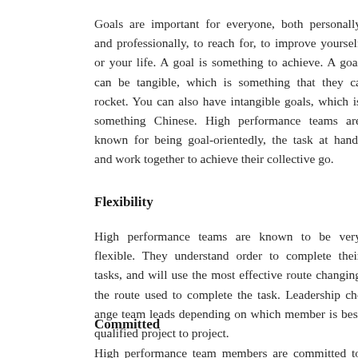Goals are important for everyone, both personally and professionally, to reach for, to improve yourself or your life. A goal is something to achieve. A goal can be tangible, which is something that they can rocket. You can also have intangible goals, which is something Chinese. High performance teams are known for being goal-oriented, the task at hand, and work together to achieve their collective go...
Flexibility
High performance teams are known to be very flexible. They understand order to complete their tasks, and will use the most effective route changing the route used to complete the task. Leadership change team leads depending on which member is best qualified project to project.
Committed
High performance team members are committed to the team a...